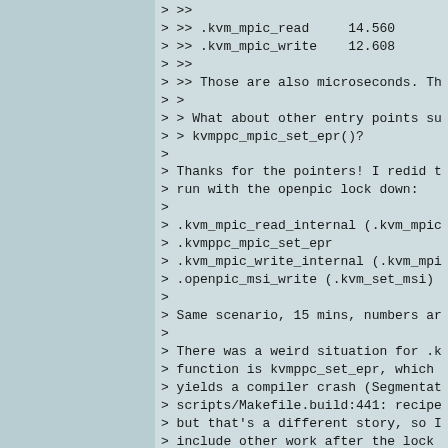> >>
> >> .kvm_mpic_read      14.560
> >> .kvm_mpic_write     12.608
> >>
> >> Those are also microseconds. Th
> >
> > What about other entry points su
> > kvmppc_mpic_set_epr()?
>
> Thanks for the pointers! I redid t
> run with the openpic lock down:
>
> .kvm_mpic_read_internal (.kvm_mpic
> .kvmppc_mpic_set_epr
> .kvm_mpic_write_internal (.kvm_mpi
> .openpic_msi_write (.kvm_set_msi)
>
> Same scenario, 15 mins, numbers ar
>
> There was a weird situation for .k
> function is kvmppc_set_epr, which
> yields a compiler crash (Segmentat
> scripts/Makefile.build:441: recipe
> but that's a different story, so I
> include other work after the lock
> actually returned. I noticed this
> work up to 90 ms, not actually und
> looking at.

kvm_set_msi does pretty much nothing